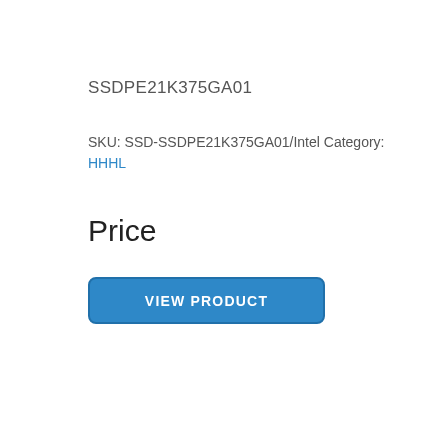SSDPE21K375GA01
SKU: SSD-SSDPE21K375GA01/Intel Category: HHHL
Price
VIEW PRODUCT